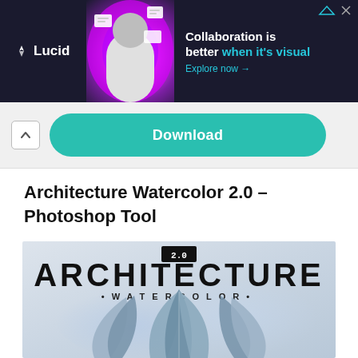[Figure (screenshot): Lucid advertisement banner on dark background with text 'Collaboration is better when it's visual. Explore now →']
[Figure (screenshot): Download button (teal rounded rectangle) on light gray background with an up-arrow toggle button to the left]
Architecture Watercolor 2.0 – Photoshop Tool
[Figure (illustration): Architecture Watercolor 2.0 product image showing large bold text 'ARCHITECTURE' with '•WATERCOLOR•' below, and architectural building photograph with watercolor effect, on light blue-gray background]